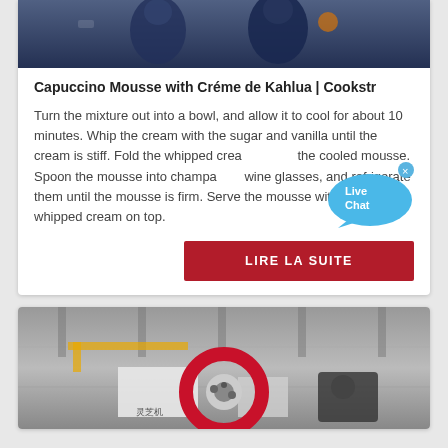[Figure (photo): Top of page: cropped photo of police officers in dark uniforms]
Capuccino Mousse with Créme de Kahlua | Cookstr
Turn the mixture out into a bowl, and allow it to cool for about 10 minutes. Whip the cream with the sugar and vanilla until the cream is stiff. Fold the whipped cream into the cooled mousse. Spoon the mousse into champagne wine glasses, and refrigerate them until the mousse is firm. Serve the mousse with a little whipped cream on top.
[Figure (other): Live Chat bubble overlay in cyan/blue with 'Live Chat' text and X close button]
[Figure (other): LIRE LA SUITE red button]
[Figure (photo): Bottom card: photo of industrial factory interior with red circular machine part]